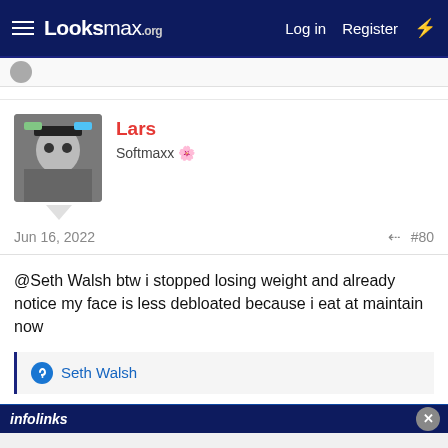Looksmax.org  Log in  Register
Lars
Softmaxx 🌸
Jun 16, 2022  #80
@Seth Walsh btw i stopped losing weight and already notice my face is less debloated because i eat at maintain now
Seth Walsh
infolinks